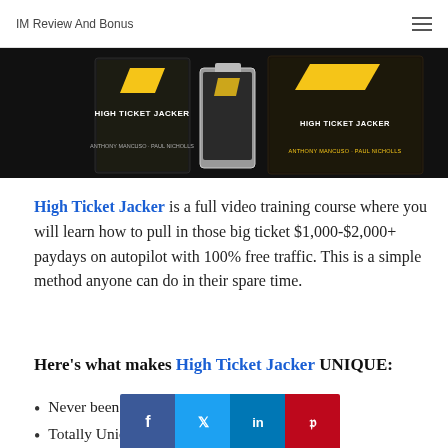IM Review And Bonus
[Figure (photo): Product image for High Ticket Jacker showing dark-themed box sets with yellow and white text, including tablet, USB drive, and book/box packaging elements on a dark background.]
High Ticket Jacker is a full video training course where you will learn how to pull in those big ticket $1,000-$2,000+ paydays on autopilot with 100% free traffic. This is a simple method anyone can do in their spare time.
Here's what makes High Ticket Jacker UNIQUE:
Never been
Totally Unique
[Figure (infographic): Social share bar overlay with four buttons: Facebook (blue, f icon), Twitter (light blue, bird icon), LinkedIn (dark blue, in text), Pinterest (red, P icon)]